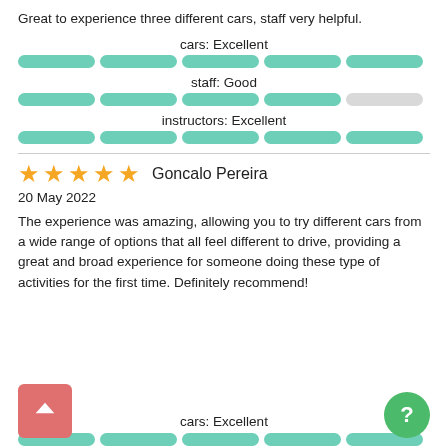Great to experience three different cars, staff very helpful.
cars: Excellent
[Figure (bar-chart): 5-segment full teal progress bar indicating Excellent rating for cars]
staff: Good
[Figure (bar-chart): 4 teal segments and 1 grey segment indicating Good rating for staff]
instructors: Excellent
[Figure (bar-chart): 5-segment full teal progress bar indicating Excellent rating for instructors]
★★★★★  Goncalo Pereira
20 May 2022
The experience was amazing, allowing you to try different cars from a wide range of options that all feel different to drive, providing a great and broad experience for someone doing these type of activities for the first time. Definitely recommend!
cars: Excellent
[Figure (bar-chart): 5-segment teal bar — partial view at bottom of page]